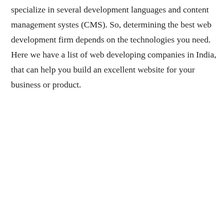specialize in several development languages and content management systes (CMS). So, determining the best web development firm depends on the technologies you need. Here we have a list of web developing companies in India, that can help you build an excellent website for your business or product.